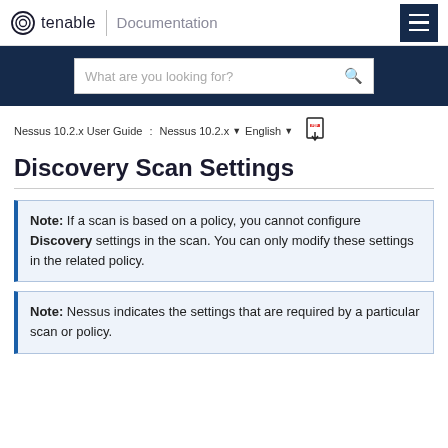tenable | Documentation
What are you looking for?
Nessus 10.2.x User Guide : Nessus 10.2.x  English
Discovery Scan Settings
Note: If a scan is based on a policy, you cannot configure Discovery settings in the scan. You can only modify these settings in the related policy.
Note: Nessus indicates the settings that are required by a particular scan or policy.